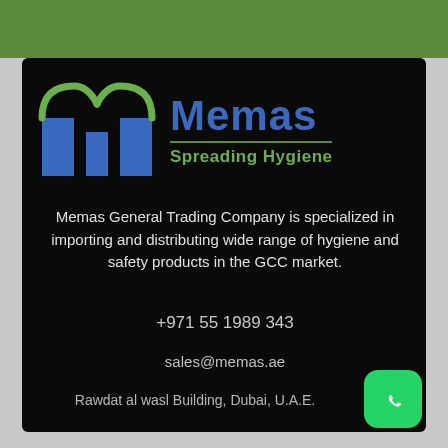[Figure (logo): Memas logo with M-shaped blue and green emblem and text 'Memas Spreading Hygiene']
Memas General Trading Company is specialized in importing and distributing wide range of hygiene and safety products in the GCC market.
+971 55 1989 343
sales@memas.ae
Rawdat al wasl Building, Dubai, U.A.E.
[Figure (logo): WhatsApp green button icon in bottom right corner]